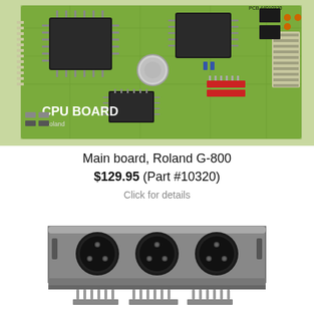[Figure (photo): Photo of a Roland G-800 CPU main board (green PCB with chips, connectors, and red components labeled CPU BOARD Roland)]
Main board, Roland G-800
$129.95 (Part #10320)
Click for details
[Figure (photo): Photo of a triple XLR MIDI connector assembly (silver metal bracket with three black XLR female connectors and solder pins on bottom)]